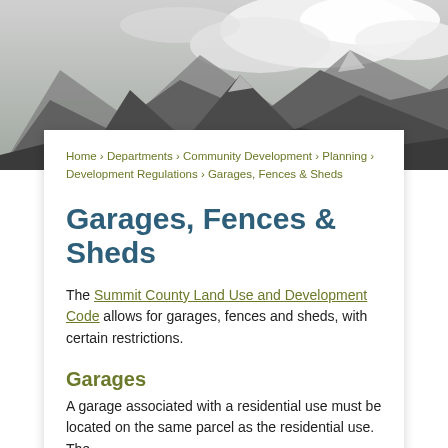[Figure (photo): Black and white mountain landscape photo with clouds and snow-capped peaks]
Home › Departments › Community Development › Planning › Development Regulations › Garages, Fences & Sheds
Garages, Fences & Sheds
The Summit County Land Use and Development Code allows for garages, fences and sheds, with certain restrictions.
Garages
A garage associated with a residential use must be located on the same parcel as the residential use. The